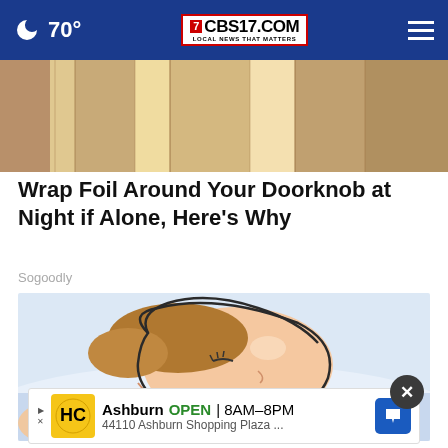70° CBS17.COM LOCAL NEWS THAT MATTERS
[Figure (photo): Close-up photo of a doorknob or wooden door panels in brown/tan tones]
Wrap Foil Around Your Doorknob at Night if Alone, Here's Why
Sogoodly
[Figure (illustration): Cartoon illustration of a person sleeping, shown from the side, with red lips slightly open and brown hair, lying on white pillow]
Ashburn OPEN | 8AM–8PM 44110 Ashburn Shopping Plaza ...